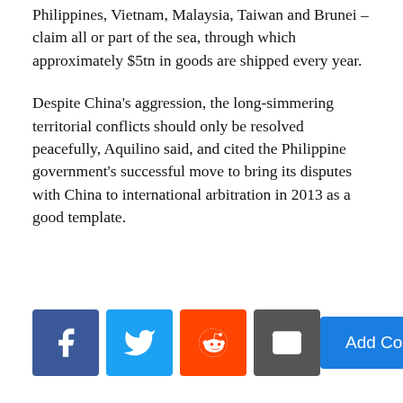Philippines, Vietnam, Malaysia, Taiwan and Brunei – claim all or part of the sea, through which approximately $5tn in goods are shipped every year.
Despite China's aggression, the long-simmering territorial conflicts should only be resolved peacefully, Aquilino said, and cited the Philippine government's successful move to bring its disputes with China to international arbitration in 2013 as a good template.
[Figure (infographic): Social sharing buttons: Facebook, Twitter, Reddit, Email; and an Add Comment button]